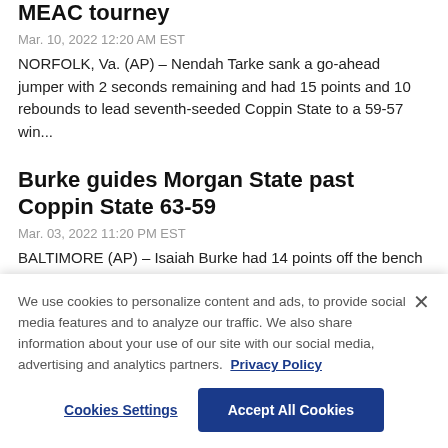MEAC tourney
Mar. 10, 2022 12:20 AM EST
NORFOLK, Va. (AP) – Nendah Tarke sank a go-ahead jumper with 2 seconds remaining and had 15 points and 10 rebounds to lead seventh-seeded Coppin State to a 59-57 win...
Burke guides Morgan State past Coppin State 63-59
Mar. 03, 2022 11:20 PM EST
BALTIMORE (AP) – Isaiah Burke had 14 points off the bench to
We use cookies to personalize content and ads, to provide social media features and to analyze our traffic. We also share information about your use of our site with our social media, advertising and analytics partners. Privacy Policy
Cookies Settings | Accept All Cookies